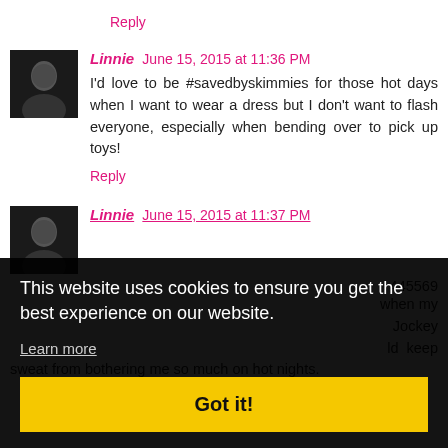Reply
Linnie  June 15, 2015 at 11:36 PM
I'd love to be #savedbyskimmies for those hot days when I want to wear a dress but I don't want to flash everyone, especially when bending over to pick up toys!
Reply
Linnie  June 15, 2015 at 11:37 PM
445569
This website uses cookies to ensure you get the best experience on our website.
Learn more
Got it!
when my Jockey ld keep sweat from bothering me so much on hot nights.